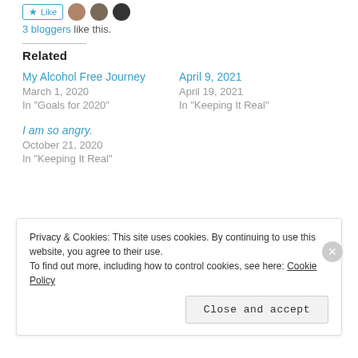3 bloggers like this.
Related
My Alcohol Free Journey
March 1, 2020
In "Goals for 2020"
April 9, 2021
April 19, 2021
In "Keeping It Real"
I am so angry.
October 21, 2020
In "Keeping It Real"
Privacy & Cookies: This site uses cookies. By continuing to use this website, you agree to their use. To find out more, including how to control cookies, see here: Cookie Policy
Close and accept